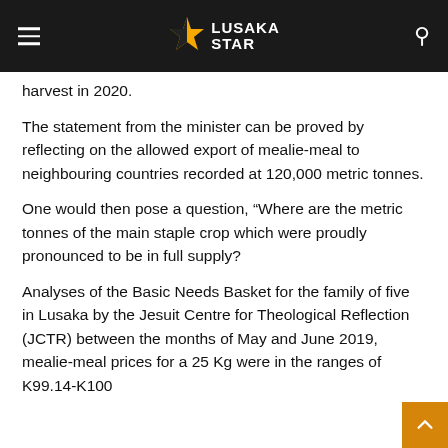LUSAKA STAR
harvest in 2020.
The statement from the minister can be proved by reflecting on the allowed export of mealie-meal to neighbouring countries recorded at 120,000 metric tonnes.
One would then pose a question, “Where are the metric tonnes of the main staple crop which were proudly pronounced to be in full supply?
Analyses of the Basic Needs Basket for the family of five in Lusaka by the Jesuit Centre for Theological Reflection (JCTR) between the months of May and June 2019, mealie-meal prices for a 25 Kg were in the ranges of K99.14-K100